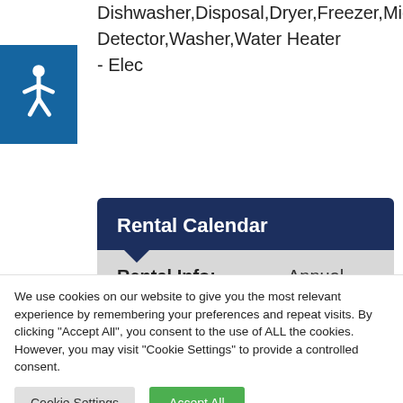[Figure (illustration): Accessibility wheelchair icon in blue square]
Dishwasher,Disposal,Dryer,Freezer,Microw... Detector,Washer,Water Heater - Elec
Rental Calendar
| Rental Info: | Annual |
| --- | --- |
We use cookies on our website to give you the most relevant experience by remembering your preferences and repeat visits. By clicking "Accept All", you consent to the use of ALL the cookies. However, you may visit "Cookie Settings" to provide a controlled consent.
Cookie Settings
Accept All